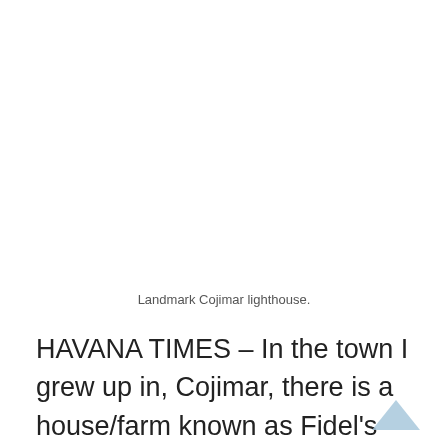Landmark Cojimar lighthouse.
HAVANA TIMES – In the town I grew up in, Cojimar, there is a house/farm known as Fidel's house. The story goes that Fidel was given this house before 1959, so that